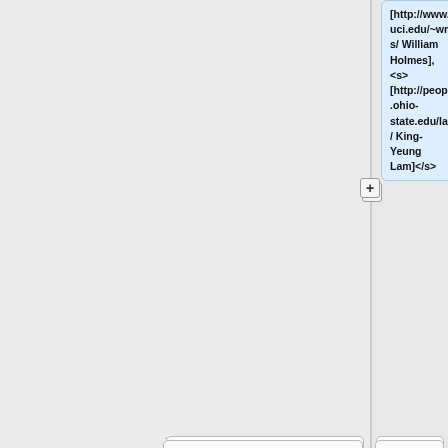[http://www.math.uci.edu/~wrholmes/ William Holmes], <s> [http://people.mbi.ohio-state.edu/lam.184/ King-Yeung Lam]</s>
|
|-  valign=top
| [http://www.mathjobs.org/jobs/Caltech/5370 California Tech]*
| several <!-- Mathematics (Tenure Track Positions) -->